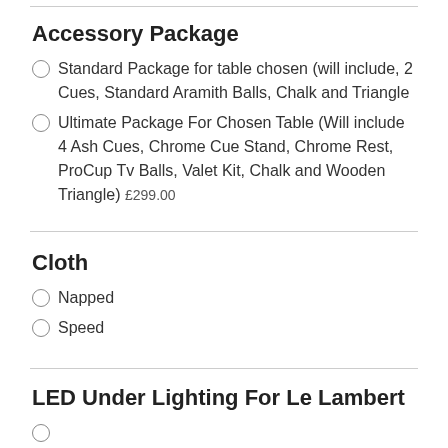Accessory Package
Standard Package for table chosen (will include, 2 Cues, Standard Aramith Balls, Chalk and Triangle
Ultimate Package For Chosen Table (Will include 4 Ash Cues, Chrome Cue Stand, Chrome Rest, ProCup Tv Balls, Valet Kit, Chalk and Wooden Triangle)  £299.00
Cloth
Napped
Speed
LED Under Lighting For Le Lambert